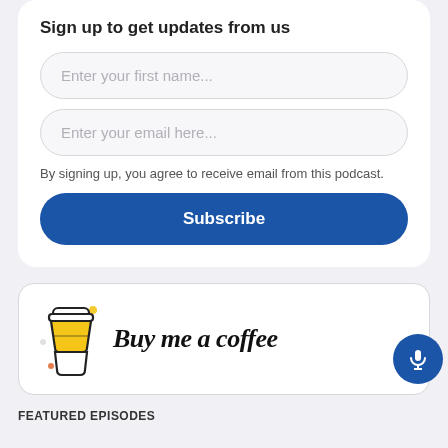Sign up to get updates from us
Enter your first name...
Enter your email here...
By signing up, you agree to receive email from this podcast.
Subscribe
[Figure (logo): Buy Me a Coffee button with coffee cup icon and microphone button]
FEATURED EPISODES